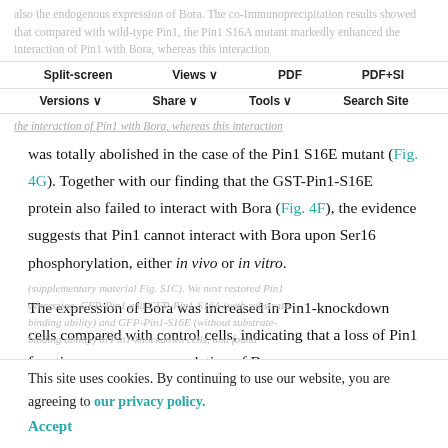also the endogenous expression of Bora. The co-Immunoprecipitation results showed that compared with wild-type Pin1, the Pin1 S16A mutant markedly enhanced the interaction of Pin1 with Bora, whereas this interaction
Split-screen | Views | PDF | PDF+SI | Versions | Share | Tools | Search Site
was totally abolished in the case of the Pin1 S16E mutant (Fig. 4G). Together with our finding that the GST-Pin1-S16E protein also failed to interact with Bora (Fig. 4F), the evidence suggests that Pin1 cannot interact with Bora upon Ser16 phosphorylation, either in vivo or in vitro.
The expression of Bora was increased in Pin1-knockdown cells compared with control cells, indicating that a loss of Pin1 function causes an accumulation of Bora
(supplementary material Fig. S1C). We next restored Pin1 expression, GFP-Pin1 and GFP-Pin1-S16A (with substrate-binding ability) and GFP-Pin1-S16E (without substrate-binding ability) in Pin1-knockdown cells, and found
This site uses cookies. By continuing to use our website, you are agreeing to our privacy policy. Accept